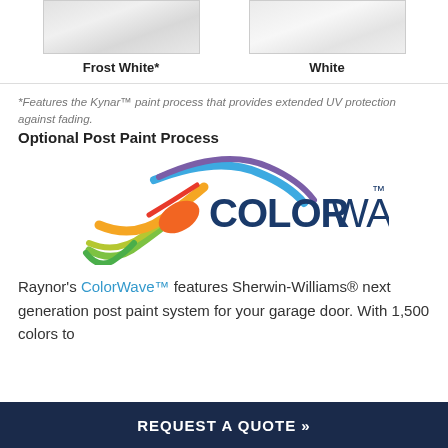[Figure (illustration): Two paint color swatches side by side: 'Frost White*' on the left and 'White' on the right, both showing a textured white surface sample.]
Frost White*
White
*Features the Kynar™ paint process that provides extended UV protection against fading.
Optional Post Paint Process
[Figure (logo): ColorWave™ logo with colorful wave/swoosh graphic and bold text 'COLORWAVE™']
Raynor's ColorWave™ features Sherwin-Williams® next generation post paint system for your garage door. With 1,500 colors to
REQUEST A QUOTE »